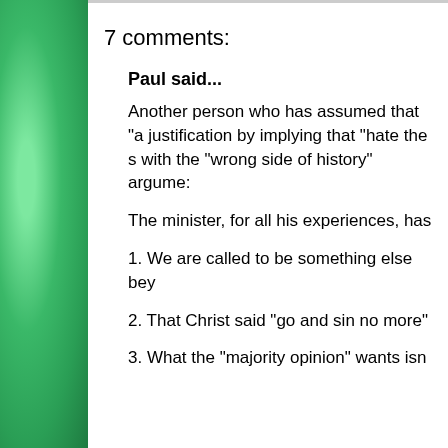7 comments:
Paul said...
Another person who has assumed that "a justification by implying that "hate the s with the "wrong side of history" argume:
The minister, for all his experiences, has
1. We are called to be something else bey
2. That Christ said "go and sin no more"
3. What the "majority opinion" wants isn